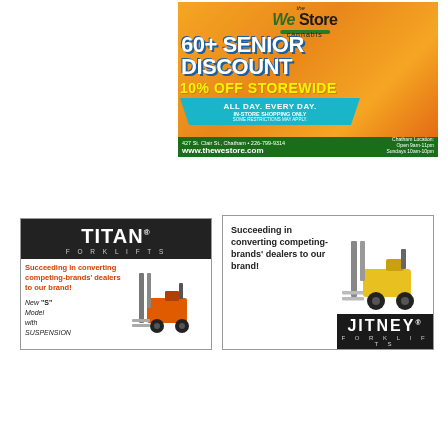[Figure (illustration): The WeStore Cannabis advertisement featuring '60+ Senior Discount 10% Off Storewide, All Day. Every Day. In-store shopping only.' with address 427 St. Clair St., Chatham, 226-799-9314, www.thewestore.com, Chatham Location: Open 9am-11pm Sundays 10am-10pm]
[Figure (illustration): TITAN Forklifts advertisement: 'Succeeding in converting competing-brands' dealers to our brand! New S Model with SUSPENSION']
[Figure (illustration): JITNEY Forklifts advertisement: 'Succeeding in converting competing-brands' dealers to our brand!']